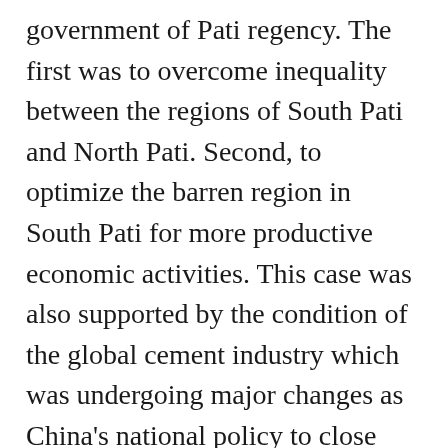government of Pati regency. The first was to overcome inequality between the regions of South Pati and North Pati. Second, to optimize the barren region in South Pati for more productive economic activities. This case was also supported by the condition of the global cement industry which was undergoing major changes as China's national policy to close almost half of its cement factories. As a result, there are many investments by cement companies that now are directed to Southeast Asian region, and the goverment sees this as a very profitable export opportunity. The expansion of cement usage was increasingly started when the Indonesian government under President Susilo Bambang Yudhoyono issued a program called the Indonesian Development Acceleration Plan (MP3EI) which focused on building a variety of large infrastructure projects. A scenario that looked